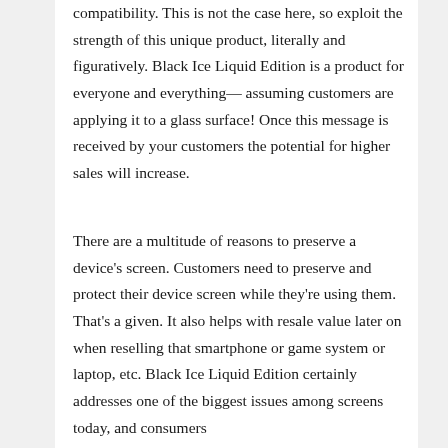compatibility. This is not the case here, so exploit the strength of this unique product, literally and figuratively. Black Ice Liquid Edition is a product for everyone and everything— assuming customers are applying it to a glass surface! Once this message is received by your customers the potential for higher sales will increase.
There are a multitude of reasons to preserve a device's screen. Customers need to preserve and protect their device screen while they're using them. That's a given. It also helps with resale value later on when reselling that smartphone or game system or laptop, etc. Black Ice Liquid Edition certainly addresses one of the biggest issues among screens today, and consumers